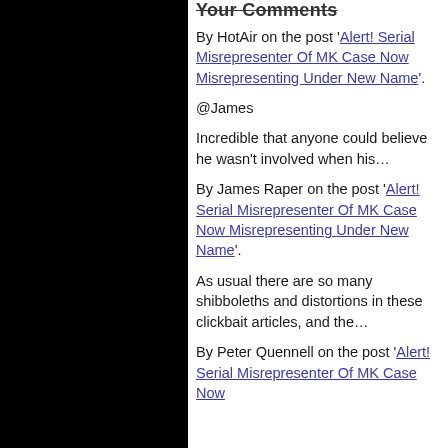Your Comments
By HotAir on the post 'Alert! Serial Misrepresenter Of MK Case Now Misrepresenting Under New Name'.
@James
Incredible that anyone could believe he wasn't involved when his…
By James Raper on the post 'Alert! Serial Misrepresenter Of MK Case Now Misrepresenting Under New Name'.
As usual there are so many shibboleths and distortions in these clickbait articles, and the…
By Peter Quennell on the post 'Alert! Serial Misrepresenter Of MK Case Now